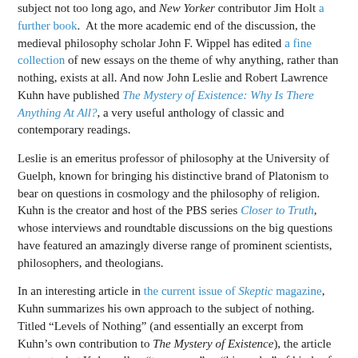subject not too long ago, and New Yorker contributor Jim Holt a further book. At the more academic end of the discussion, the medieval philosophy scholar John F. Wippel has edited a fine collection of new essays on the theme of why anything, rather than nothing, exists at all. And now John Leslie and Robert Lawrence Kuhn have published The Mystery of Existence: Why Is There Anything At All?, a very useful anthology of classic and contemporary readings.
Leslie is an emeritus professor of philosophy at the University of Guelph, known for bringing his distinctive brand of Platonism to bear on questions in cosmology and the philosophy of religion. Kuhn is the creator and host of the PBS series Closer to Truth, whose interviews and roundtable discussions on the big questions have featured an amazingly diverse range of prominent scientists, philosophers, and theologians.
In an interesting article in the current issue of Skeptic magazine, Kuhn summarizes his own approach to the subject of nothing. Titled “Levels of Nothing” (and essentially an excerpt from Kuhn’s own contribution to The Mystery of Existence), the article sets out what Kuhn calls a “taxonomy” or “hierarchy” of kinds of Nothing, from least to most absolute. We are to imagine, first, space and time devoid of any visible objects but containing particles and energy; then space and time devoid of particles, but